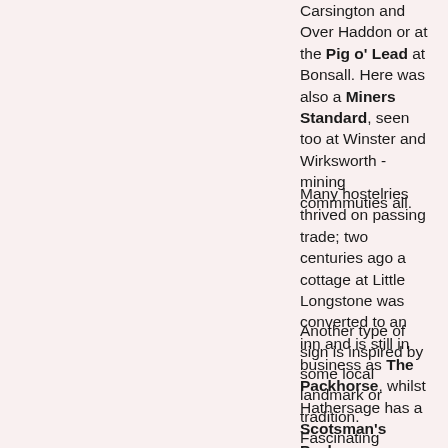Carsington and Over Haddon or at the Pig o' Lead at Bonsall. Here was also a Miners Standard, seen too at Winster and Wirksworth - mining commmuties all.
Many hostelries thrived on passing trade; two centuries ago a cottage at Little Longstone was converted to an inn and is still in business as The Packhorse, whilst Hathersage has a Scotsman's Pack.
Another type of sign is inspired by some local landmark or tradition. Fascinating legends lie behind the Druid Inn at Birchover and the Moon Inn at Stoney Middleton. The reason fur a Castle Hotel at Castleton is more obvious than for that of Bakewell, where the castle is long gone. At Hope the name of Old Hall Hotel suggests its earlier role